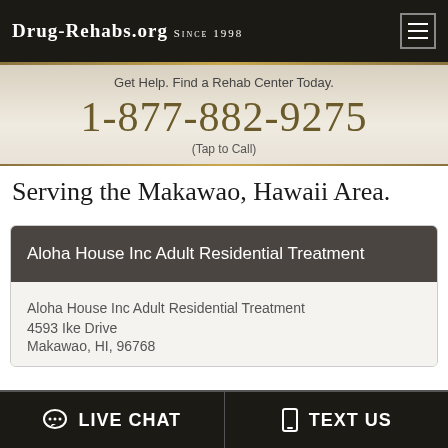Drug-Rehabs.org Since 1998
Get Help. Find a Rehab Center Today.
1-877-882-9275
(Tap to Call)
Serving the Makawao, Hawaii Area.
Aloha House Inc Adult Residential Treatment
Aloha House Inc Adult Residential Treatment
4593 Ike Drive
Makawao, HI, 96768
LIVE CHAT   TEXT US